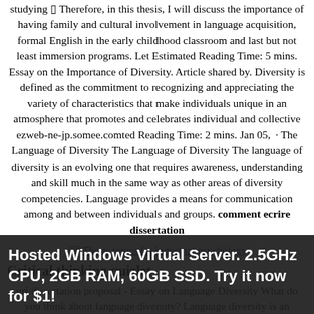studying  Therefore, in this thesis, I will discuss the importance of having family and cultural involvement in language acquisition, formal English in the early childhood classroom and last but not least immersion programs. Let Estimated Reading Time: 5 mins. Essay on the Importance of Diversity. Article shared by. Diversity is defined as the commitment to recognizing and appreciating the variety of characteristics that make individuals unique in an atmosphere that promotes and celebrates individual and collective ezweb-ne-jp.somee.comted Reading Time: 2 mins. Jan 05,  · The Language of Diversity The Language of Diversity The language of diversity is an evolving one that requires awareness, understanding and skill much in the same way as other areas of diversity competencies. Language provides a means for communication among and between individuals and groups. comment ecrire dissertation
[Figure (other): Broken image placeholder link labeled 'Thesis topics for industrial psychology']
Critical thinking quizlet
uri dissertation proposal - Essay on Language Diversity What do you think about language diversity? Language diversity is an important multiracial topic to consider since we have 11 official languages. The future has us challenged when it comes to... Free Essays online for you. American dissertation collection
Hosted Windows Virtual Server. 2.5GHz CPU, 2GB RAM, 60GB SSD. Try it now for $1!